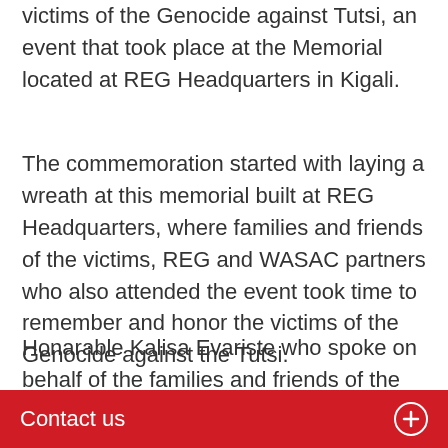victims of the Genocide against Tutsi, an event that took place at the Memorial located at REG Headquarters in Kigali.
The commemoration started with laying a wreath at this memorial built at REG Headquarters, where families and friends of the victims, REG and WASAC partners who also attended the event took time to remember and honor the victims of the Genocide against the Tutsi.
Honarable Kalisa Evariste who spoke on behalf of the families and friends of the victim ssaid that the Genocide was planned for a long time that is the reason...
Contact us